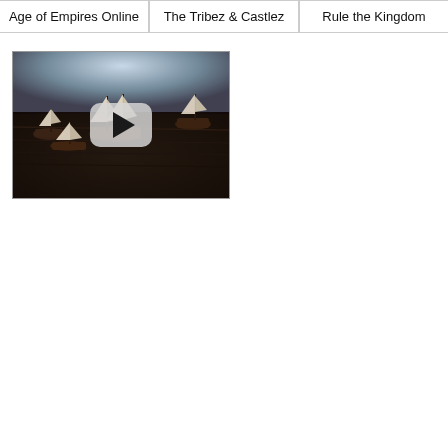Age of Empires Online | The Tribez & Castlez | Rule the Kingdom
[Figure (screenshot): Video thumbnail showing tall ships on a dark ocean sea, with a YouTube-style play button overlay (rounded rectangle with triangle) centered on the image.]